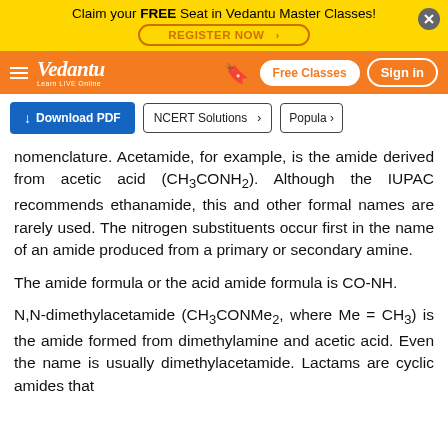Claim your FREE Seat in Vedantu Master Classes! REGISTER NOW
Vedantu — Learn LIVE Online | Free Classes | Sign in
[Figure (screenshot): Download PDF button, NCERT Solutions button, Popular button toolbar]
nomenclature. Acetamide, for example, is the amide derived from acetic acid (CH3CONH2). Although the IUPAC recommends ethanamide, this and other formal names are rarely used. The nitrogen substituents occur first in the name of an amide produced from a primary or secondary amine.
The amide formula or the acid amide formula is CO-NH.
N,N-dimethylacetamide (CH3CONMe2, where Me = CH3) is the amide formed from dimethylamine and acetic acid. Even the name is usually dimethylacetamide. Lactams are cyclic amides that